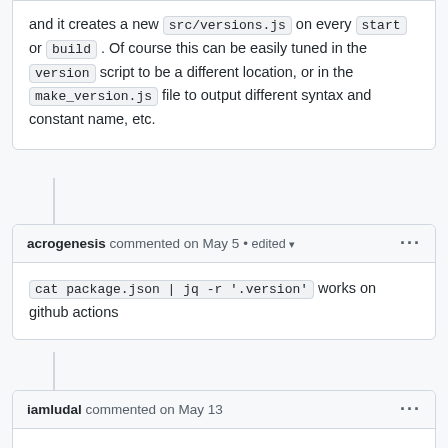and it creates a new src/versions.js on every start or build . Of course this can be easily tuned in the version script to be a different location, or in the make_version.js file to output different syntax and constant name, etc.
acrogenesis commented on May 5 • edited
cat package.json | jq -r '.version' works on github actions
iamludal commented on May 13
cat package.json | jq -r '.version' works on github actions
This is the best solution!